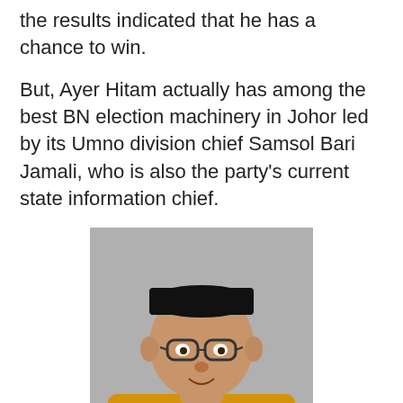the results indicated that he has a chance to win.
But, Ayer Hitam actually has among the best BN election machinery in Johor led by its Umno division chief Samsol Bari Jamali, who is also the party's current state information chief.
[Figure (photo): A man wearing a black songkok (traditional Malay hat) and yellow baju kurung (traditional Malay attire) with a red lanyard, speaking at a podium with a microphone. He appears to be gesturing with his right hand. An orange lectern with a logo is visible in the foreground.]
I personally saw him in action in GE13 and I can confirm that the guy is good.
I was told by those on the ground in Ayer Hitam that Samsol